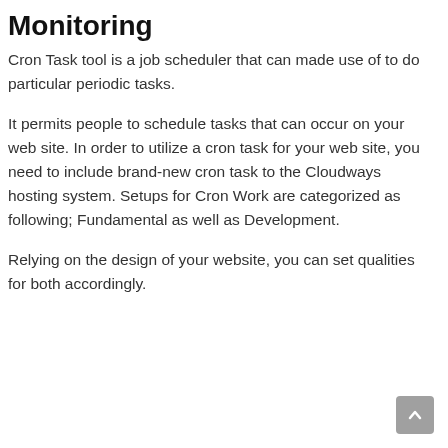Monitoring
Cron Task tool is a job scheduler that can made use of to do particular periodic tasks.
It permits people to schedule tasks that can occur on your web site. In order to utilize a cron task for your web site, you need to include brand-new cron task to the Cloudways hosting system. Setups for Cron Work are categorized as following; Fundamental as well as Development.
Relying on the design of your website, you can set qualities for both accordingly.